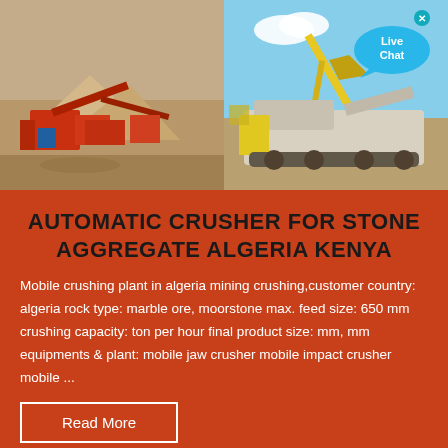[Figure (photo): Two side-by-side photos of mining/crushing plant equipment. Left: red overhead view of industrial stone crushing plant with conveyor belts and piles of aggregate. Right: excavator/crusher machinery on a job site with blue sky.]
AUTOMATIC CRUSHER FOR STONE AGGREGATE ALGERIA KENYA
Mobile crushing plant in algeria mining crushing,customer country: algeria rock type: marble ore, moorstone max. feed size: 650 mm crushing capacity: ton per hour final product size: mm, mm equipments & plant: mobile jaw crusher mobile impact crusher mobile ...
Read More